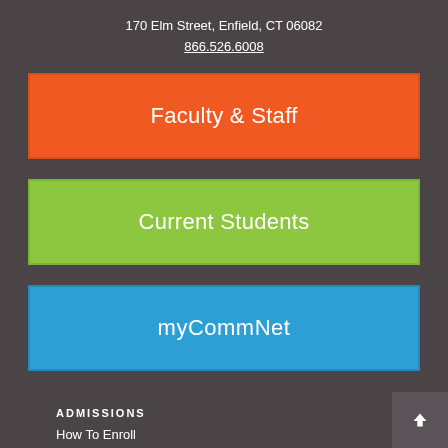170 Elm Street, Enfield, CT 06082
866.526.6008
Faculty & Staff
Current Students
myCommNet
ADMISSIONS
How To Enroll
Choosing Classes
Tuition and Fees
Financial Aid
Open House